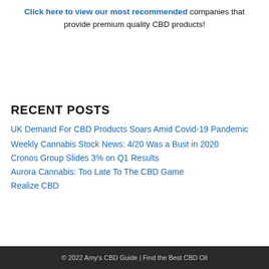Click here to view our most recommended companies that provide premium quality CBD products!
RECENT POSTS
UK Demand For CBD Products Soars Amid Covid-19 Pandemic
Weekly Cannabis Stock News: 4/20 Was a Bust in 2020
Cronos Group Slides 3% on Q1 Results
Aurora Cannabis: Too Late To The CBD Game
Realize CBD
© 2022 Amy's CBD Guide | Find the Best CBD Oil